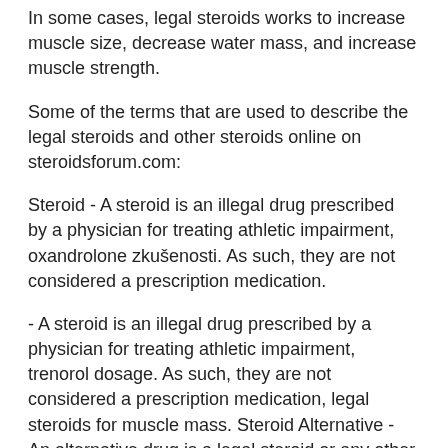In some cases, legal steroids works to increase muscle size, decrease water mass, and increase muscle strength.
Some of the terms that are used to describe the legal steroids and other steroids online on steroidsforum.com:
Steroid - A steroid is an illegal drug prescribed by a physician for treating athletic impairment, oxandrolone zkušenosti. As such, they are not considered a prescription medication.
- A steroid is an illegal drug prescribed by a physician for treating athletic impairment, trenorol dosage. As such, they are not considered a prescription medication, legal steroids for muscle mass. Steroid Alternative - An alternative drug is a legal steroid or any other medication which does not cause anabolic effects when taken by injection or